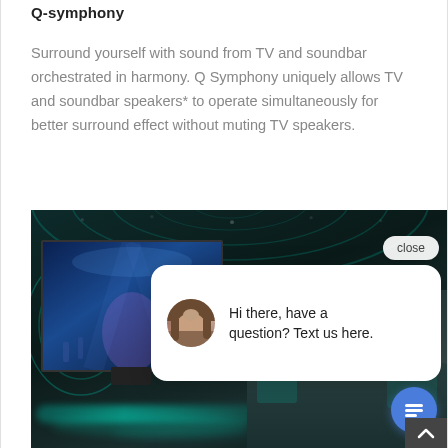Q-symphony
Surround yourself with sound from TV and soundbar orchestrated in harmony. Q Symphony uniquely allows TV and soundbar speakers* to operate simultaneously for better surround effect without muting TV speakers.
[Figure (screenshot): Dark room with Samsung Q-Symphony TV and soundbar, with a chat popup overlay showing 'Hi there, have a question? Text us here.' and a close button, chat icon, and up arrow navigation button.]